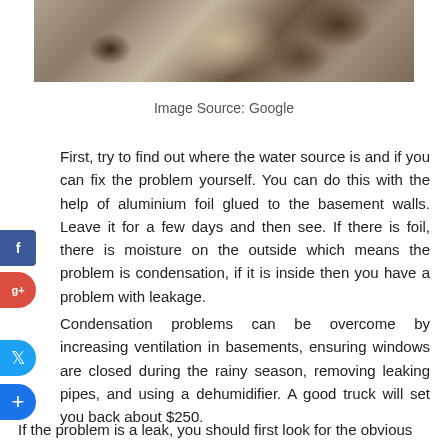[Figure (photo): Camouflage or textured surface photo, cropped showing top portion]
Image Source: Google
First, try to find out where the water source is and if you can fix the problem yourself. You can do this with the help of aluminium foil glued to the basement walls. Leave it for a few days and then see. If there is foil, there is moisture on the outside which means the problem is condensation, if it is inside then you have a problem with leakage.
Condensation problems can be overcome by increasing ventilation in basements, ensuring windows are closed during the rainy season, removing leaking pipes, and using a dehumidifier. A good truck will set you back about $250.
If the problem is a leak, you should first look for the obvious